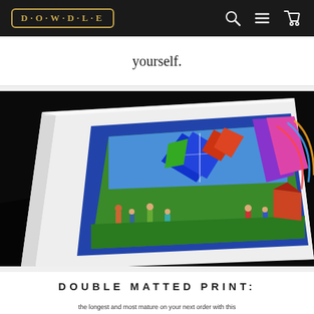DOWDLE
yourself.
[Figure (photo): Close-up photo of a double matted fine art print on a black background. The print shows colorful kites and people at what appears to be a kite festival. The white outer mat and blue inner mat are clearly visible at an angle.]
DOUBLE MATTED PRINT: